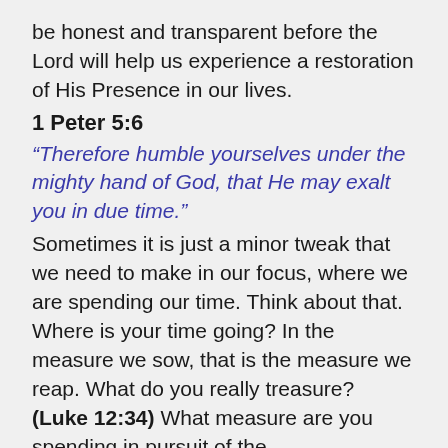be honest and transparent before the Lord will help us experience a restoration of His Presence in our lives.
1 Peter 5:6
“Therefore humble yourselves under the mighty hand of God, that He may exalt you in due time.”
Sometimes it is just a minor tweak that we need to make in our focus, where we are spending our time. Think about that. Where is your time going? In the measure we sow, that is the measure we reap. What do you really treasure? (Luke 12:34) What measure are you spending in pursuit of the